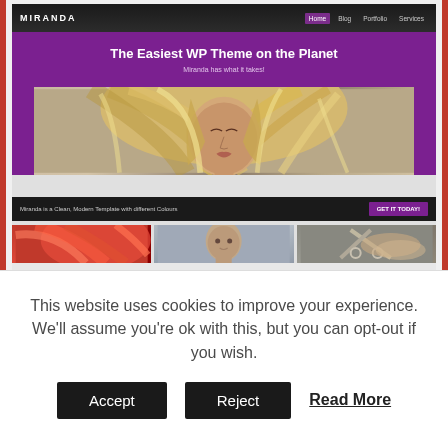[Figure (screenshot): Screenshot of the 'Miranda' WordPress theme website. Shows a dark navigation bar with logo 'MIRANDA' and links (Home, Blog, Portfolio, Services). Below is a purple hero section with title 'The Easiest WP Theme on the Planet' and subtitle 'Miranda has what it takes!'. A large photo of a blonde woman with flowing hair is shown. Below is a dark CTA bar reading 'Miranda is a Clean, Modern Template with different Colours' with a 'GET IT TODAY!' button. Three thumbnail images appear at the bottom.]
This website uses cookies to improve your experience. We'll assume you're ok with this, but you can opt-out if you wish.
Accept   Reject   Read More